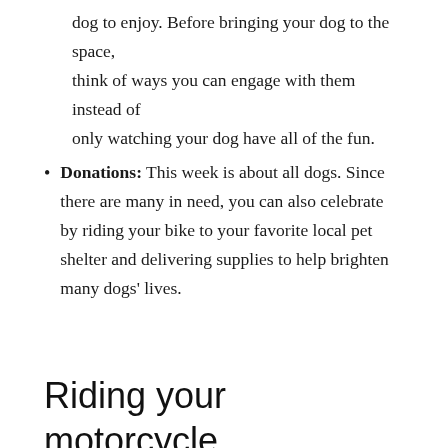dog to enjoy. Before bringing your dog to the space, think of ways you can engage with them instead of only watching your dog have all of the fun.
Donations: This week is about all dogs. Since there are many in need, you can also celebrate by riding your bike to your favorite local pet shelter and delivering supplies to help brighten many dogs' lives.
Riding your motorcycle with your dog
If you're a lucky rider that can celebrate National Dog Week while riding with your dog on your motorcycle, be sure to keep their safety a number one priority as you